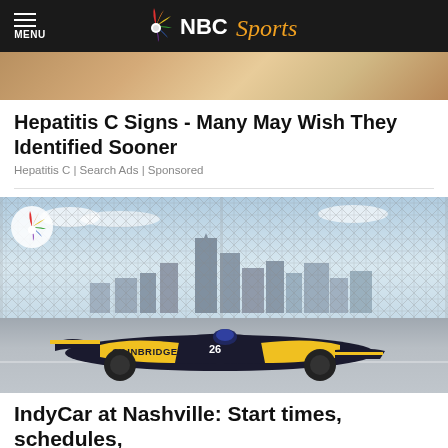NBC Sports
[Figure (photo): Partial view of a person, cropped advertisement image]
Hepatitis C Signs - Many May Wish They Identified Sooner
Hepatitis C | Search Ads | Sponsored
[Figure (photo): IndyCar number 26 Gainbridge car racing on a street circuit with Nashville skyline in the background, NBC peacock logo in upper left corner]
IndyCar at Nashville: Start times, schedules,